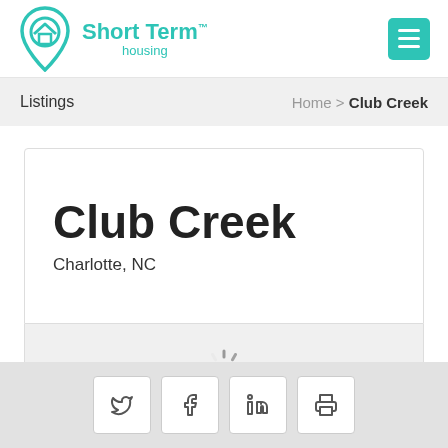Short Term housing
Listings    Home > Club Creek
Club Creek
Charlotte, NC
[Figure (other): Loading spinner animation and two dark navigation buttons in a gray section]
[Figure (other): Social share bar with Twitter, Facebook, LinkedIn, and print buttons]